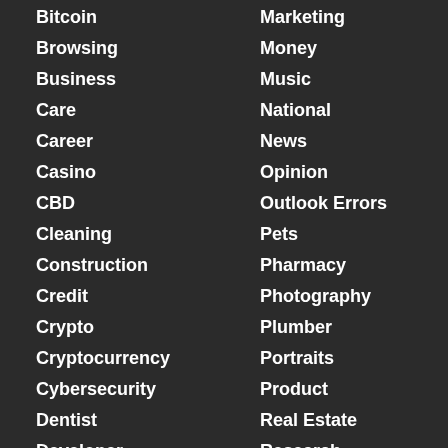Bitcoin
Browsing
Business
Care
Career
Casino
CBD
Cleaning
Construction
Credit
Crypto
Cryptocurrency
Cybersecurity
Dentist
Developer
Digital Marketing
Marketing
Money
Music
National
News
Opinion
Outlook Errors
Pets
Pharmacy
Photography
Plumber
Portraits
Product
Real Estate
Research
Restaurant